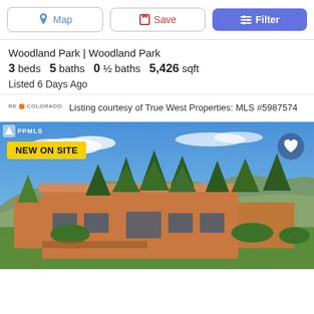Map | Save | Filter
Woodland Park | Woodland Park
3 beds   5 baths   0 ½ baths   5,426 sqft
Listed 6 Days Ago
Listing courtesy of True West Properties: MLS #5987574
[Figure (photo): Aerial view of a two-story adobe/stucco style home with flat roof surrounded by pine trees, green lawn, and mountain backdrop under blue sky with wispy clouds. Badge reads NEW ON SITE.]